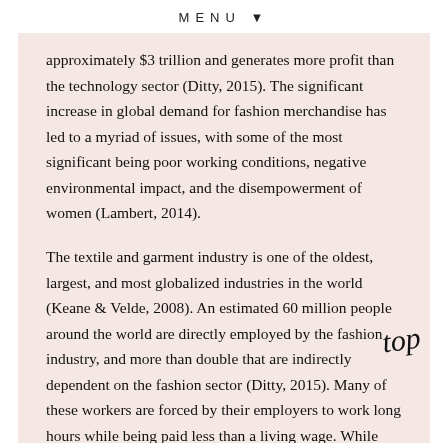MENU ▼
approximately $3 trillion and generates more profit than the technology sector (Ditty, 2015). The significant increase in global demand for fashion merchandise has led to a myriad of issues, with some of the most significant being poor working conditions, negative environmental impact, and the disempowerment of women (Lambert, 2014).
The textile and garment industry is one of the oldest, largest, and most globalized industries in the world (Keane & Velde, 2008). An estimated 60 million people around the world are directly employed by the fashion industry, and more than double that are indirectly dependent on the fashion sector (Ditty, 2015). Many of these workers are forced by their employers to work long hours while being paid less than a living wage. While there is a movement for more governmental legislation to address these human rights issues, exploitation is pervasive. Human rights violations include child labor, discrimination, and unsafe and